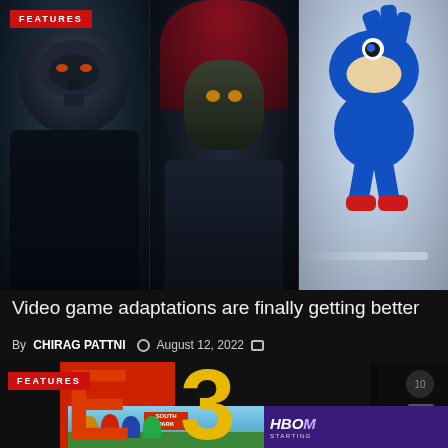[Figure (photo): Composite image of three characters: a dark-cloaked Dracula-like figure on the left, a red-haired anime character in the center, and Sonic the Hedgehog on the right. A red FEATURES badge is in the top-left corner.]
Video game adaptations are finally getting better
By CHIRAG PATTNI  August 12, 2022
[Figure (photo): Dark background with E3 logo (red E, yellow 3) on right side. Red FEATURES badge on left. A dismiss X button visible.]
[Figure (photo): Advertisement banner: South Park characters on left (bright sky background with South Park sign), HBO Max advertisement on right with STARTING text.]